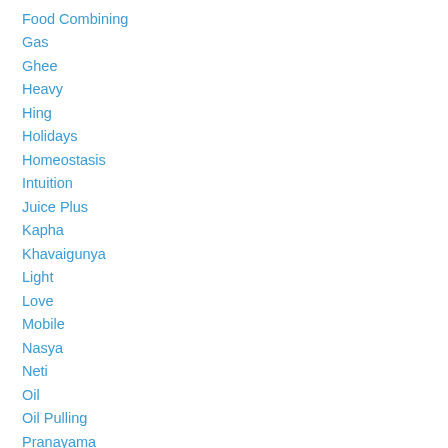Food Combining
Gas
Ghee
Heavy
Hing
Holidays
Homeostasis
Intuition
Juice Plus
Kapha
Khavaigunya
Light
Love
Mobile
Nasya
Neti
Oil
Oil Pulling
Pranayama
Recipe